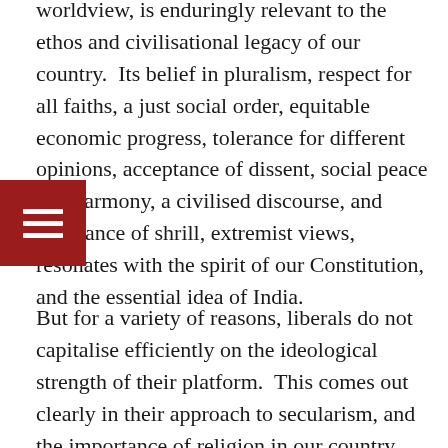worldview, is enduringly relevant to the ethos and civilisational legacy of our country.  Its belief in pluralism, respect for all faiths, a just social order, equitable economic progress, tolerance for different opinions, acceptance of dissent, social peace and harmony, a civilised discourse, and avoidance of shrill, extremist views, resonates with the spirit of our Constitution, and the essential idea of India.
But for a variety of reasons, liberals do not capitalise efficiently on the ideological strength of their platform.  This comes out clearly in their approach to secularism, and the importance of religion in our country. There is often a selectivity in their opposition to the illiterate aggression of